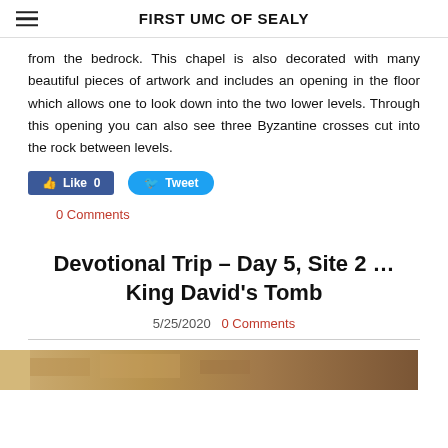FIRST UMC OF SEALY
from the bedrock. This chapel is also decorated with many beautiful pieces of artwork and includes an opening in the floor which allows one to look down into the two lower levels. Through this opening you can also see three Byzantine crosses cut into the rock between levels.
[Figure (screenshot): Social media buttons: Like 0 (Facebook) and Tweet (Twitter)]
0 Comments
Devotional Trip – Day 5, Site 2 … King David's Tomb
5/25/2020  0 Comments
[Figure (photo): Bottom edge of a photo showing stone/rock texture in brown and tan tones]